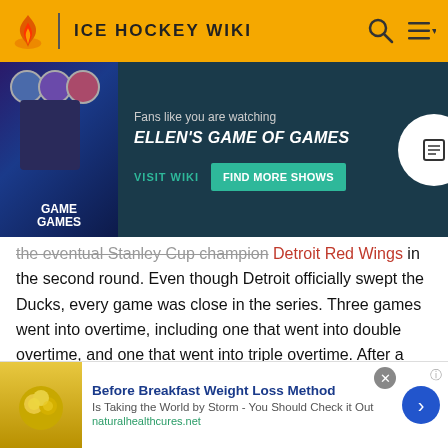ICE HOCKEY WIKI
[Figure (screenshot): Advertisement banner for Ellen's Game of Games TV show. Dark teal background with show poster on left, text 'Fans like you are watching ELLEN'S GAME OF GAMES', buttons 'VISIT WIKI' and 'FIND MORE SHOWS']
the eventual Stanley Cup champion Detroit Red Wings in the second round. Even though Detroit officially swept the Ducks, every game was close in the series. Three games went into overtime, including one that went into double overtime, and one that went into triple overtime. After a disappointing 1998 season, the next year saw the Ducks once again contending for the playoffs. Late in the
[Figure (screenshot): Bottom advertisement: 'Before Breakfast Weight Loss Method - Is Taking the World by Storm - You Should Check it Out' from naturalhealthcures.net, with food image on left and blue arrow button on right]